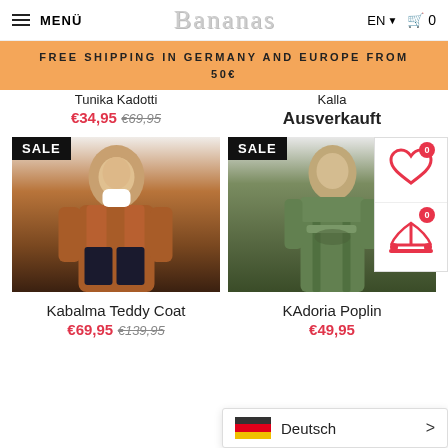MENÜ | Bananas | EN | 0
FREE SHIPPING IN GERMANY AND EUROPE FROM 50€
Tunika Kadotti
€34,95 €69,95
Kalla
Ausverkauft
[Figure (photo): Woman wearing a rust/brown teddy coat with SALE badge]
[Figure (photo): Woman wearing an olive green poplin dress with SALE badge]
Kabalma Teddy Coat
€69,95 €139,95
KAdoria Poplin
€49,95
Deutsch